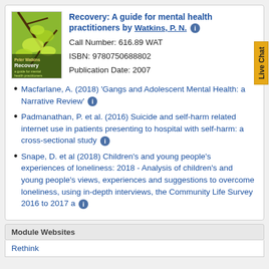[Figure (photo): Book cover for 'Recovery: A guide for mental health practitioners' showing green leaves and branches]
Recovery: A guide for mental health practitioners by Watkins, P. N. ℹ
Call Number: 616.89 WAT
ISBN: 9780750688802
Publication Date: 2007
Macfarlane, A. (2018) 'Gangs and Adolescent Mental Health: a Narrative Review' ℹ
Padmanathan, P. et al. (2016) Suicide and self-harm related internet use in patients presenting to hospital with self-harm: a cross-sectional study ℹ
Snape, D. et al (2018) Children's and young people's experiences of loneliness: 2018 - Analysis of children's and young people's views, experiences and suggestions to overcome loneliness, using in-depth interviews, the Community Life Survey 2016 to 2017 a ℹ
Module Websites
Rethink